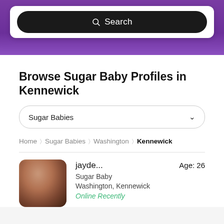[Figure (screenshot): Top purple banner with white search bar containing a dark pill-shaped search button with magnifying glass icon and 'Search' text]
Browse Sugar Baby Profiles in Kennewick
Sugar Babies (dropdown)
Home > Sugar Babies > Washington > Kennewick
[Figure (photo): Blurred profile photo of a woman with dark hair]
jayde...  Age: 26
Sugar Baby
Washington, Kennewick
Online Recently